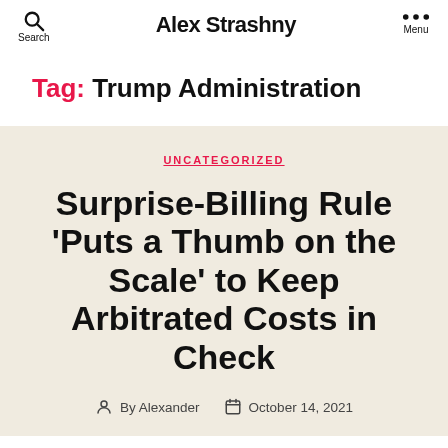Search | Alex Strashny | Menu
Tag: Trump Administration
UNCATEGORIZED
Surprise-Billing Rule 'Puts a Thumb on the Scale' to Keep Arbitrated Costs in Check
By Alexander  October 14, 2021